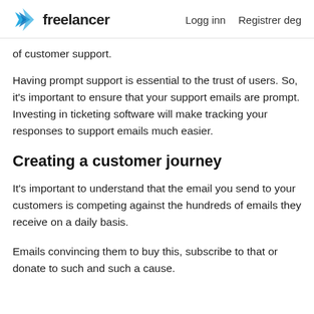freelancer   Logg inn   Registrer deg
of customer support.
Having prompt support is essential to the trust of users. So, it's important to ensure that your support emails are prompt. Investing in ticketing software will make tracking your responses to support emails much easier.
Creating a customer journey
It's important to understand that the email you send to your customers is competing against the hundreds of emails they receive on a daily basis.
Emails convincing them to buy this, subscribe to that or donate to such and such a cause.